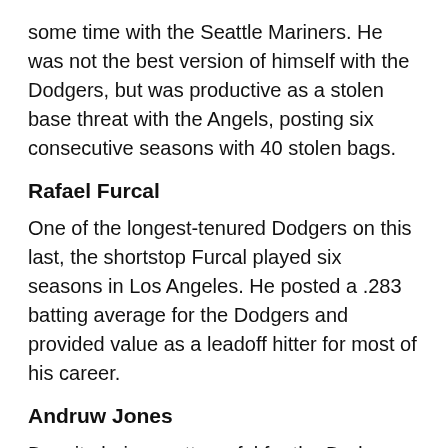some time with the Seattle Mariners. He was not the best version of himself with the Dodgers, but was productive as a stolen base threat with the Angels, posting six consecutive seasons with 40 stolen bags.
Rafael Furcal
One of the longest-tenured Dodgers on this last, the shortstop Furcal played six seasons in Los Angeles. He posted a .283 batting average for the Dodgers and provided value as a leadoff hitter for most of his career.
Andruw Jones
Despite being pretty awful for the Dodgers in his 75 game tenure — .158/.256/.249 slash line — he had a